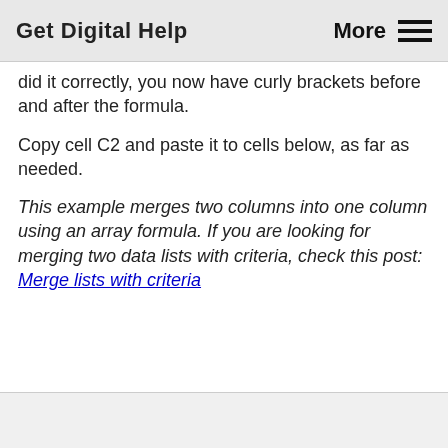Get Digital Help  More ☰
did it correctly, you now have curly brackets before and after the formula.
Copy cell C2 and paste it to cells below, as far as needed.
This example merges two columns into one column using an array formula. If you are looking for merging two data lists with criteria, check this post: Merge lists with criteria